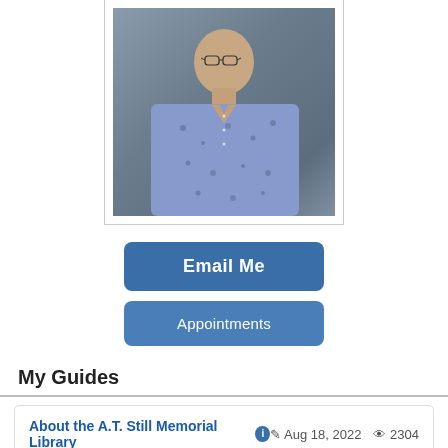[Figure (photo): Professional headshot of a young man wearing a blue floral patterned short-sleeve button-up shirt, photographed against a gray studio background.]
Email Me
Appointments
My Guides
About the A.T. Still Memorial Library  ℹ  Aug 18, 2022  👁 2304
Academic Publishing 101  ℹ  Aug 22, 2022  👁 16